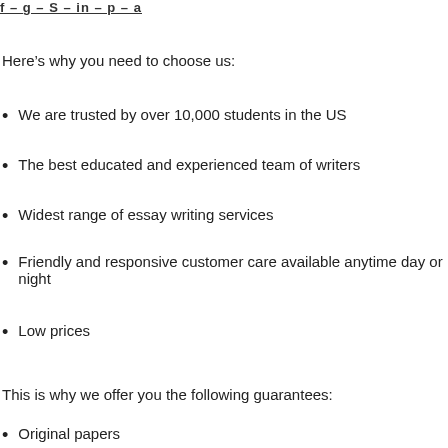f - g - in - p - a
Here’s why you need to choose us:
We are trusted by over 10,000 students in the US
The best educated and experienced team of writers
Widest range of essay writing services
Friendly and responsive customer care available anytime day or night
Low prices
This is why we offer you the following guarantees:
Original papers